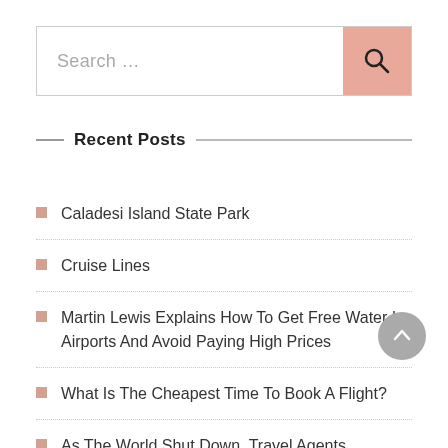[Figure (other): Search bar with text 'Search ...' and pink search button with magnifying glass icon]
Recent Posts
Caladesi Island State Park
Cruise Lines
Martin Lewis Explains How To Get Free Water In Airports And Avoid Paying High Prices
What Is The Cheapest Time To Book A Flight?
As The World Shut Down, Travel Agents